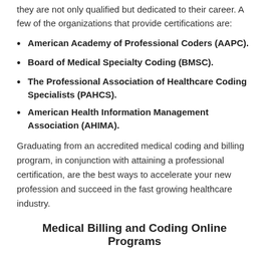they are not only qualified but dedicated to their career. A few of the organizations that provide certifications are:
American Academy of Professional Coders (AAPC).
Board of Medical Specialty Coding (BMSC).
The Professional Association of Healthcare Coding Specialists (PAHCS).
American Health Information Management Association (AHIMA).
Graduating from an accredited medical coding and billing program, in conjunction with attaining a professional certification, are the best ways to accelerate your new profession and succeed in the fast growing healthcare industry.
Medical Billing and Coding Online Programs